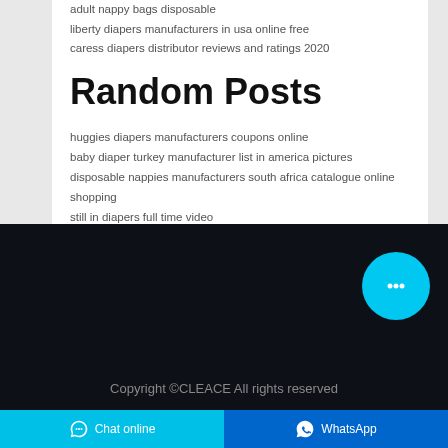adult nappy bags disposable
liberty diapers manufacturers in usa online free
caress diapers distributor reviews and ratings 2020
Random Posts
huggies diapers manufacturers coupons online
baby diaper turkey manufacturer list in america pictures
disposable nappies manufacturers south africa catalogue online shopping
still in diapers full time video
who makes target brand diapers any good for kids
looking diapers wholesale dealers of america customer service number
diapers for baby raccoons
top diaper brands in usa
diaper manufacturing companies in india fundoodata 2017 free
bumtum diapers distributors in united states free country
Copyright ©CLEACE All rights reserved